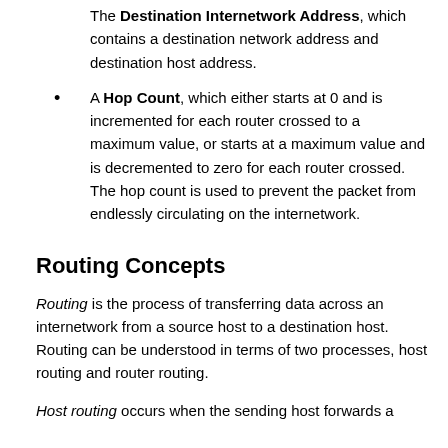The Destination Internetwork Address, which contains a destination network address and destination host address.
A Hop Count, which either starts at 0 and is incremented for each router crossed to a maximum value, or starts at a maximum value and is decremented to zero for each router crossed. The hop count is used to prevent the packet from endlessly circulating on the internetwork.
Routing Concepts
Routing is the process of transferring data across an internetwork from a source host to a destination host. Routing can be understood in terms of two processes, host routing and router routing.
Host routing occurs when the sending host forwards a